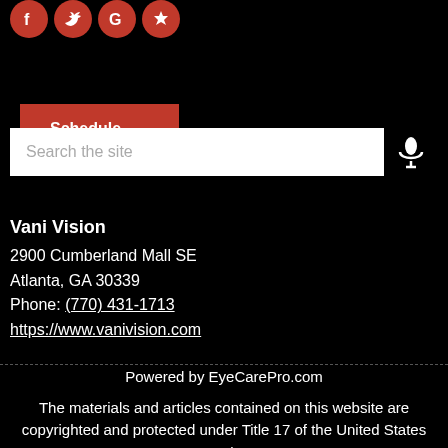[Figure (infographic): Row of four red circular social media icons: Facebook (f), Twitter (bird), Google (G), Yelp (star/flower)]
Schedule Appointment
[Figure (infographic): Search bar with placeholder text 'Search the site' and a microphone icon to the right]
Vani Vision
2900 Cumberland Mall SE
Atlanta, GA 30339
Phone: (770) 431-1713
https://www.vanivision.com
Powered by EyeCarePro.com

The materials and articles contained on this website are copyrighted and protected under Title 17 of the United States Code